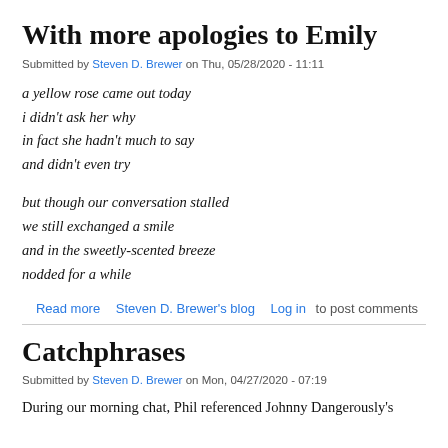With more apologies to Emily
Submitted by Steven D. Brewer on Thu, 05/28/2020 - 11:11
a yellow rose came out today
i didn't ask her why
in fact she hadn't much to say
and didn't even try

but though our conversation stalled
we still exchanged a smile
and in the sweetly-scented breeze
nodded for a while
Read more   Steven D. Brewer's blog   Log in to post comments
Catchphrases
Submitted by Steven D. Brewer on Mon, 04/27/2020 - 07:19
During our morning chat, Phil referenced Johnny Dangerously's